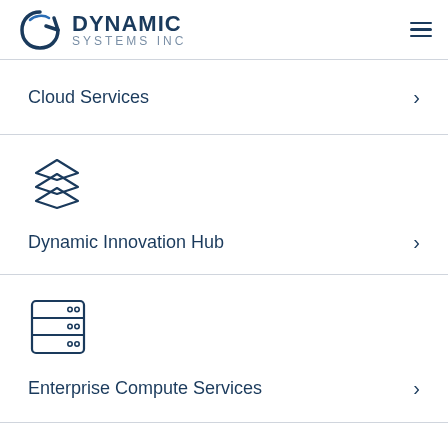Dynamic Systems Inc
Cloud Services
[Figure (illustration): Layers/stack icon (three layered diamond shapes in navy blue outline)]
Dynamic Innovation Hub
[Figure (illustration): Server/database rack icon in navy blue outline]
Enterprise Compute Services